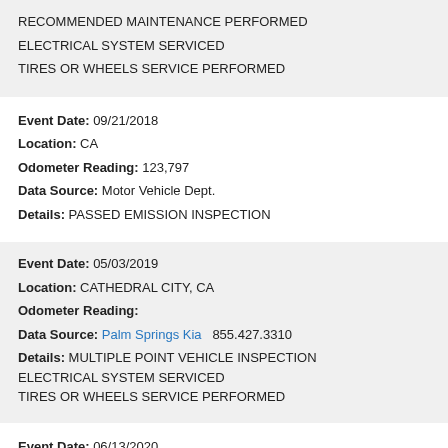RECOMMENDED MAINTENANCE PERFORMED
ELECTRICAL SYSTEM SERVICED
TIRES OR WHEELS SERVICE PERFORMED
Event Date: 09/21/2018
Location: CA
Odometer Reading: 123,797
Data Source: Motor Vehicle Dept.
Details: PASSED EMISSION INSPECTION
Event Date: 05/03/2019
Location: CATHEDRAL CITY, CA
Odometer Reading:
Data Source: Palm Springs Kia  855.427.3310
Details: MULTIPLE POINT VEHICLE INSPECTION
ELECTRICAL SYSTEM SERVICED
TIRES OR WHEELS SERVICE PERFORMED
Event Date: 06/13/2020
Location: CA
Odometer Reading: 136,815